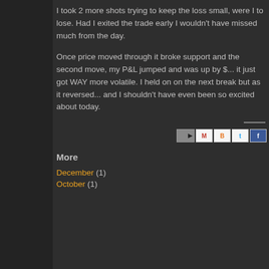I took 2 more shots trying to keep the loss small, were I to lose. Had I exited the trade early I wouldn't have missed much from the day.

Once price moved through it broke support and the second move, my P&L jumped and was up by $... it just got WAY more volatile. I held on on the next break but as it reversed... and I shouldn't have even been so excited about today.
[Figure (other): Horizontal divider line]
[Figure (other): Social sharing icons row with email, Gmail, Blogger, Twitter, Facebook buttons]
More
December (1)
October (1)